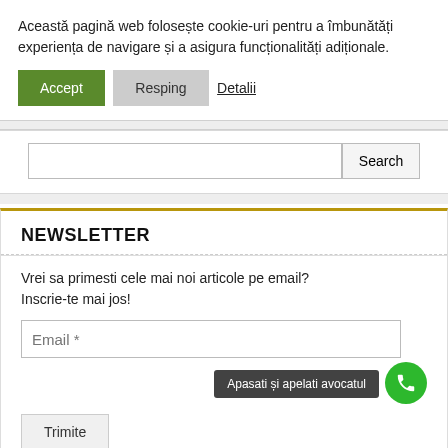Această pagină web folosește cookie-uri pentru a îmbunătăți experiența de navigare și a asigura funcționalități adiționale.
Accept | Resping | Detalii
[Figure (screenshot): Search box with text input and Search button]
NEWSLETTER
Vrei sa primesti cele mai noi articole pe email? Inscrie-te mai jos!
Email *
Apasati și apelati avocatul
Trimite